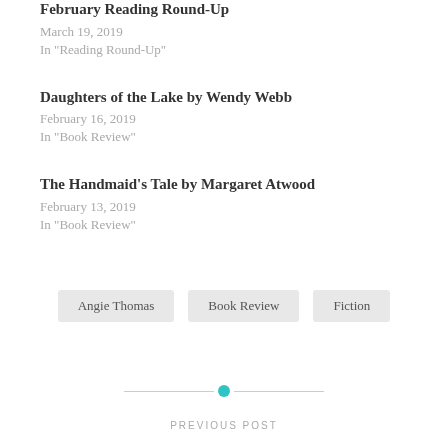February Reading Round-Up
March 19, 2019
In "Reading Round-Up"
Daughters of the Lake by Wendy Webb
February 16, 2019
In "Book Review"
The Handmaid's Tale by Margaret Atwood
February 13, 2019
In "Book Review"
Angie Thomas
Book Review
Fiction
PREVIOUS POST